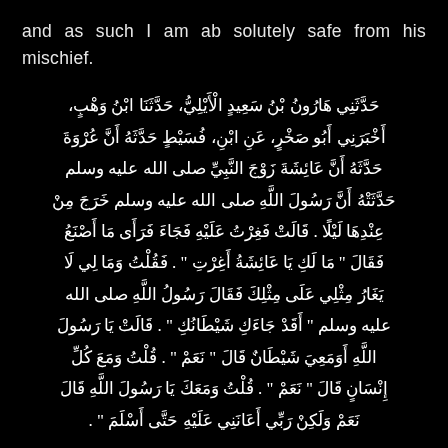and as such I am ab solutely safe from his mischief.
حَدَّثَنِي هَارُونُ بْنُ سَعِيدٍ الْأَيْلِيُّ، حَدَّثَنَا ابْنُ وَهْبٍ، أَخْبَرَنِي أَبُو صَخْرٍ، عَنِ ابْنِ، فُسَيْطٍ حَدَّثَهُ أَنَّ عُرْوَةَ حَدَّثَهُ أَنَّ عَائِشَةَ زَوْجَ النَّبِيِّ صلى الله عليه وسلم حَدَّثَتْهُ أَنَّ رَسُولَ اللَّهِ صلى الله عليه وسلم خَرَجَ مِنْ عِنْدِهَا لَيْلًا . قَالَتْ فَغِرْتُ عَلَيْهِ فَجَاءَ فَرَأَى مَا أَصْنَعُ فَقَالَ " مَا لَكِ يَا عَائِشَةُ أَغِرْتِ " . فَقُلْتُ وَمَا لِي لَا يَغَارُ مِثْلِي عَلَى مِثْلِكَ فَقَالَ رَسُولُ اللَّهِ صلى الله عليه وسلم " أَقَدْ جَاءَكِ شَيْطَانُكِ " . قَالَتْ يَا رَسُولَ اللَّهِ أَوَمَعِيَ شَيْطَانٌ قَالَ " نَعَمْ " . قُلْتُ وَمَعَ كُلِّ إِنْسَانٍ قَالَ " نَعَمْ " . قُلْتُ وَمَعَكَ يَا رَسُولَ اللَّهِ قَالَ " نَعَمْ وَلَكِنْ رَبِّي أَعَانَنِي عَلَيْهِ حَتَّى أَسْلَمَ " .